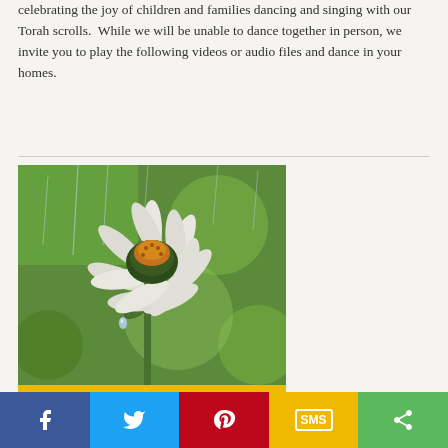celebrating the joy of children and families dancing and singing with our Torah scrolls.  While we will be unable to dance together in person, we invite you to play the following videos or audio files and dance in your homes.
[Figure (photo): A white coneflower (echinacea) in the rain against a blurred green background, with rain streaks visible and a water droplet on one petal. A yellow bar appears below the image.]
April Showers, May Flowers, and